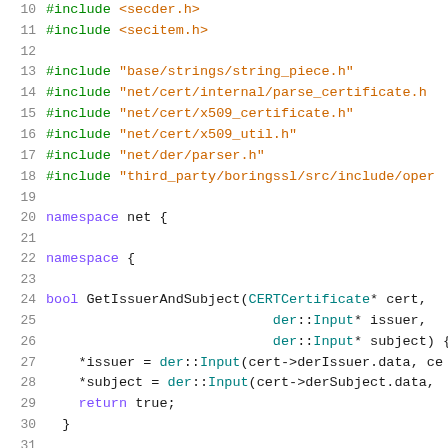10  #include <secder.h>
11  #include <secitem.h>
12
13  #include "base/strings/string_piece.h"
14  #include "net/cert/internal/parse_certificate.h"
15  #include "net/cert/x509_certificate.h"
16  #include "net/cert/x509_util.h"
17  #include "net/der/parser.h"
18  #include "third_party/boringssl/src/include/oper..."
19
20  namespace net {
21
22  namespace {
23
24  bool GetIssuerAndSubject(CERTCertificate* cert,
25                          der::Input* issuer,
26                          der::Input* subject) {
27    *issuer = der::Input(cert->derIssuer.data, ce...
28    *subject = der::Input(cert->derSubject.data, ...
29    return true;
30  }
31